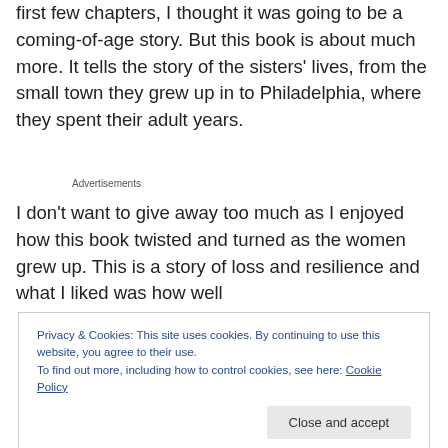first few chapters, I thought it was going to be a coming-of-age story. But this book is about much more. It tells the story of the sisters' lives, from the small town they grew up in to Philadelphia, where they spent their adult years.
Advertisements
I don't want to give away too much as I enjoyed how this book twisted and turned as the women grew up. This is a story of loss and resilience and what I liked was how well
Privacy & Cookies: This site uses cookies. By continuing to use this website, you agree to their use.
To find out more, including how to control cookies, see here: Cookie Policy
Close and accept